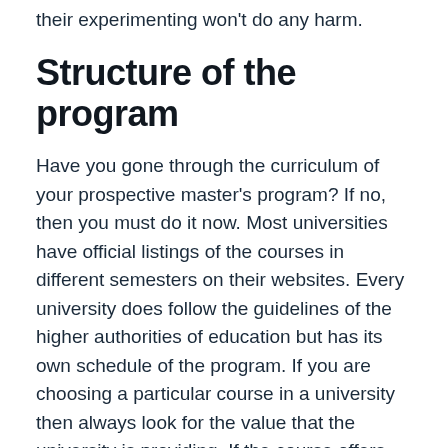their experimenting won't do any harm.
Structure of the program
Have you gone through the curriculum of your prospective master's program? If no, then you must do it now. Most universities have official listings of the courses in different semesters on their websites. Every university does follow the guidelines of the higher authorities of education but has its own schedule of the program. If you are choosing a particular course in a university then always look for the value that the university is providing. If the course offers skills development, extra benefits and high-quality education then you can make the right choice.
Lastly, there is no specified criteria for choosing a particular educational degree. However, it is important that you look out for the five tips mentioned above. Education is something that uplifts the value of a person and secures their future in terms of a healthy career